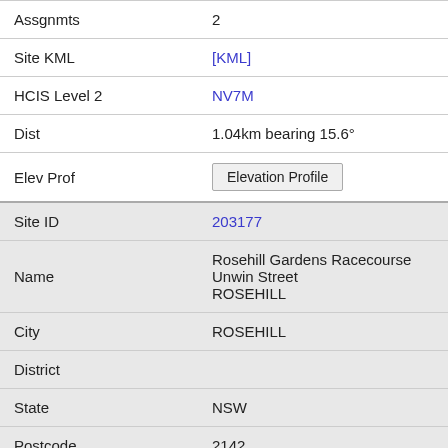| Field | Value |
| --- | --- |
| Assgnmts | 2 |
| Site KML | [KML] |
| HCIS Level 2 | NV7M |
| Dist | 1.04km bearing 15.6° |
| Elev Prof | Elevation Profile |
| Site ID | 203177 |
| Name | Rosehill Gardens Racecourse Unwin Street ROSEHILL |
| City | ROSEHILL |
| District |  |
| State | NSW |
| Postcode | 2142 |
| Assgnmts | 20 |
| Site KML | [KML] |
| HCIS Level 2 | NV7M |
| Dist | 1.05km bearing 272.8° |
| Elev Prof | Elevation Profile |